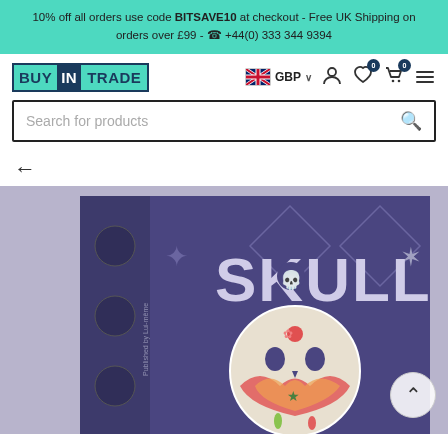10% off all orders use code BITSAVE10 at checkout - Free UK Shipping on orders over £99 - ☎ +44(0) 333 344 9394
[Figure (logo): BUY IN TRADE logo with teal and navy color scheme]
[Figure (infographic): UK flag GBP currency selector, user account icon, wishlist icon with 0 badge, shopping cart icon with 0 badge, hamburger menu icon]
Search for products
[Figure (photo): Skull board game box showing purple box with decorative Day of the Dead skull artwork and SKULL text]